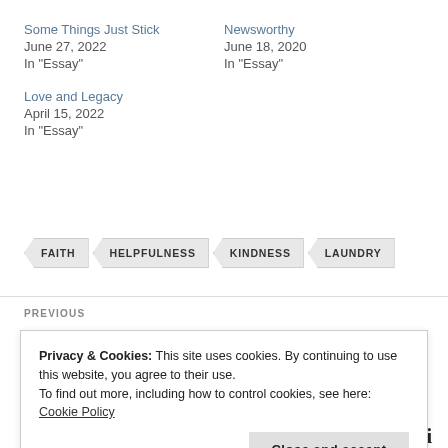Some Things Just Stick
June 27, 2022
In "Essay"
Newsworthy
June 18, 2020
In "Essay"
Love and Legacy
April 15, 2022
In "Essay"
FAITH
HELPFULNESS
KINDNESS
LAUNDRY
PREVIOUS
Privacy & Cookies: This site uses cookies. By continuing to use this website, you agree to their use.
To find out more, including how to control cookies, see here: Cookie Policy
Close and accept
Merci